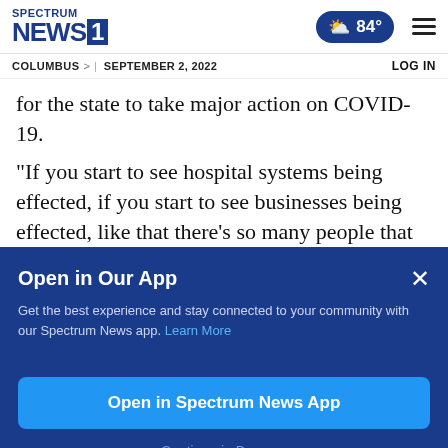Spectrum News 1 | 84° | Columbus | September 2, 2022 | LOG IN
for the state to take major action on COVID-19.
“If you start to see hospital systems being effected, if you start to see businesses being effected, like that there’s so many people that are sick that, like businesses aren’t able to run,
Open in Our App
Get the best experience and stay connected to your community with our Spectrum News app. Learn More
Open in Spectrum News App
Continue in Browser